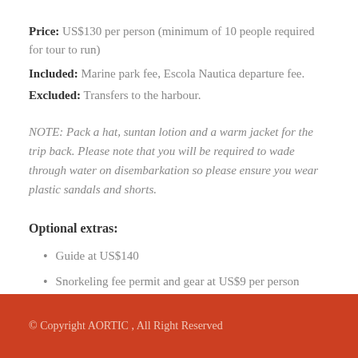Price: US$130 per person (minimum of 10 people required for tour to run)
Included: Marine park fee, Escola Nautica departure fee.
Excluded: Transfers to the harbour.
NOTE: Pack a hat, suntan lotion and a warm jacket for the trip back. Please note that you will be required to wade through water on disembarkation so please ensure you wear plastic sandals and shorts.
Optional extras:
Guide at US$140
Snorkeling fee permit and gear at US$9 per person
© Copyright AORTIC , All Right Reserved